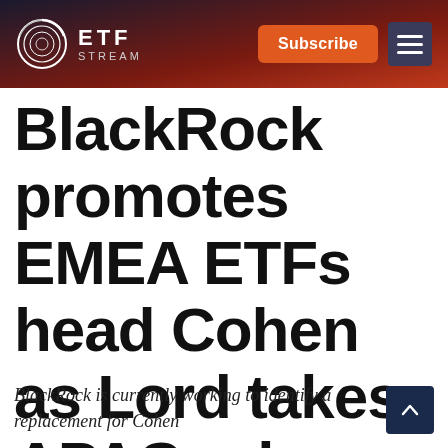ETF STREAM — Subscribe
BlackRock promotes EMEA ETFs head Cohen as Lord takes APAC role
BlackRock is currently working to identify a replacement for Cohen